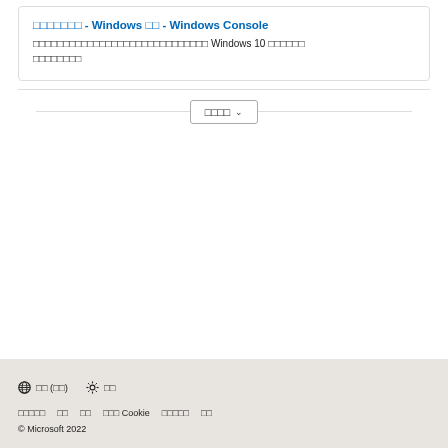□□□□□□□ - Windows □□ - Windows Console
□□□□□□□□□□□□□□□□□□□□□□□□□□□□□ Windows 10 □□□□□□ □□□□□□□□
もっと見る ∨
🌐 日本語 (日本)   ☀ 外観   お問い合わせ   プライバシー   使用条件   Cookie の設定   商標について   会社情報   © Microsoft 2022